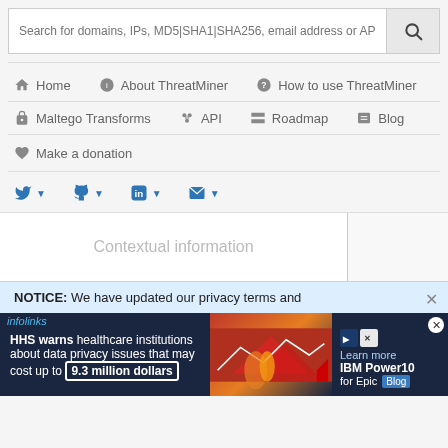Search for domains, IPs, MD5|SHA1|SHA256, email address or AP
Home
About ThreatMiner
How to use ThreatMiner
Maltego Transforms
API
Roadmap
Blog
Make a donation
[Figure (screenshot): Social media share buttons: Twitter, GitHub, LinkedIn, Email with dropdown carets]
Contextual information
NOTICE: We have updated our privacy terms and
[Figure (photo): Advertisement banner: infolinks. HHS warns healthcare institutions about data privacy issues that may cost up to 9.3 million dollars. IBM Power10 for Epic Blog.]